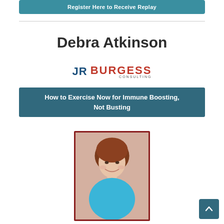Register Here to Receive Replay
Debra Atkinson
[Figure (logo): JR BURGESS CONSULTING logo with JR in dark blue and BURGESS in red, CONSULTING in small gray text]
How to Exercise Now for Immune Boosting, Not Busting
[Figure (photo): Portrait photo of Debra Atkinson, a woman with short auburn hair, smiling, wearing a blue top, in a red-bordered frame]